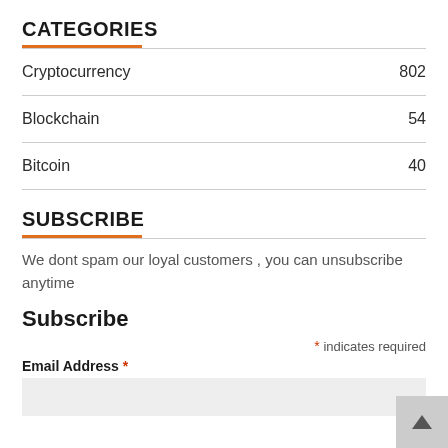CATEGORIES
Cryptocurrency 802
Blockchain 54
Bitcoin 40
SUBSCRIBE
We dont spam our loyal customers , you can unsubscribe anytime
Subscribe
* indicates required
Email Address *